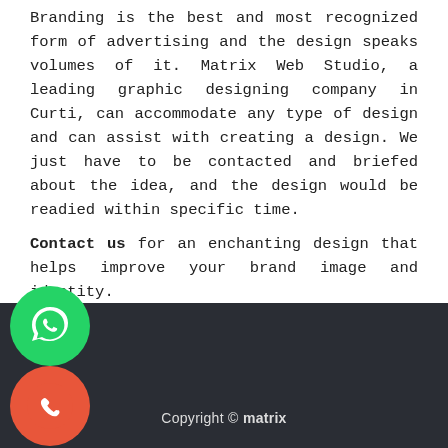Branding is the best and most recognized form of advertising and the design speaks volumes of it. Matrix Web Studio, a leading graphic designing company in Curti, can accommodate any type of design and can assist with creating a design. We just have to be contacted and briefed about the idea, and the design would be readied within specific time.
Contact us for an enchanting design that helps improve your brand image and identity.
[Figure (illustration): WhatsApp icon button (green circle with phone handset and speech bubble) and phone call icon button (orange-red circle with phone handset), positioned in the footer area]
Copyright © matrix